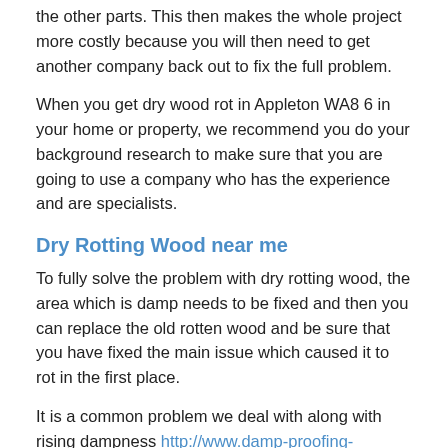the other parts. This then makes the whole project more costly because you will then need to get another company back out to fix the full problem.
When you get dry wood rot in Appleton WA8 6 in your home or property, we recommend you do your background research to make sure that you are going to use a company who has the experience and are specialists.
Dry Rotting Wood near me
To fully solve the problem with dry rotting wood, the area which is damp needs to be fixed and then you can replace the old rotten wood and be sure that you have fixed the main issue which caused it to rot in the first place.
It is a common problem we deal with along with rising dampness http://www.damp-proofing-experts.co.uk/rising-damp/cheshire/appleton/ so do not worry as this is what we specialise in and we will be sure to help you and get your home or building back to how it should be.
To get more details on the range of services available for